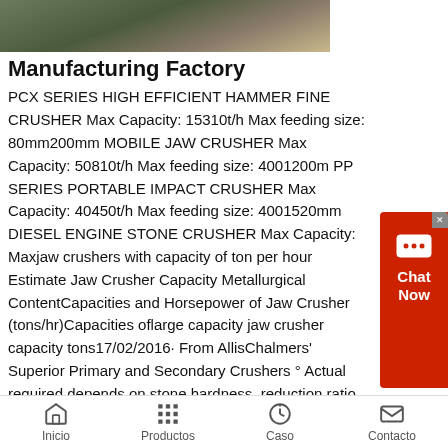[Figure (photo): Partial view of a manufacturing factory setting, showing metal equipment with green/yellow coloring]
Manufacturing Factory
PCX SERIES HIGH EFFICIENT HAMMER FINE CRUSHER Max Capacity: 15310t/h Max feeding size: 80mm200mm MOBILE JAW CRUSHER Max Capacity: 50810t/h Max feeding size: 4001200m PP SERIES PORTABLE IMPACT CRUSHER Max Capacity: 40450t/h Max feeding size: 4001520mm DIESEL ENGINE STONE CRUSHER Max Capacity: Maxjaw crushers with capacity of ton per hour Estimate Jaw Crusher Capacity Metallurgical ContentCapacities and Horsepower of Jaw Crusher (tons/hr)Capacities oflarge capacity jaw crusher capacity tons17/02/2016· From AllisChalmers' Superior Primary and Secondary Crushers ° Actual required depends on stone hardness, reduction ratio, and so on If a 60in gyratory crusher is to process material from a quarry where a shovel loads the raw material, the shovel would probably have to have a dipper capacity of at least 5 cu yd to be compatible It may be more economical toEstimate Jaw
Inicio  Productos  Caso  Contacto